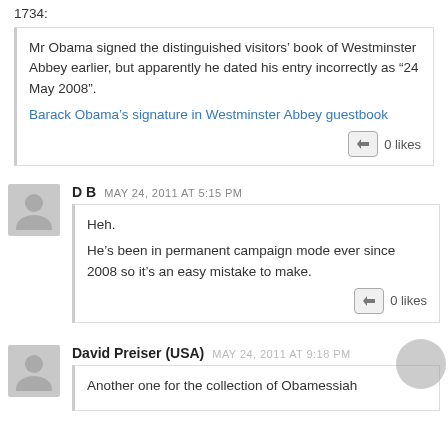1734:
Mr Obama signed the distinguished visitors’ book of Westminster Abbey earlier, but apparently he dated his entry incorrectly as “24 May 2008”.
Barack Obama's signature in Westminster Abbey guestbook
0 likes
D B  MAY 24, 2011 AT 5:15 PM
Heh.

He’s been in permanent campaign mode ever since 2008 so it’s an easy mistake to make.
0 likes
David Preiser (USA)  MAY 24, 2011 AT 9:18 PM
Another one for the collection of Obamessiah